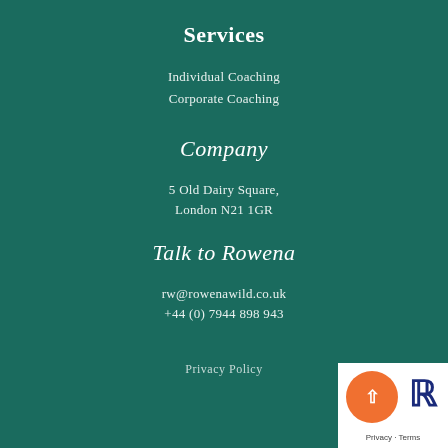Services
Individual Coaching
Corporate Coaching
Company
5 Old Dairy Square,
London N21 1GR
Talk to Rowena
rw@rowenawild.co.uk
+44 (0) 7944 898 943
Privacy Policy